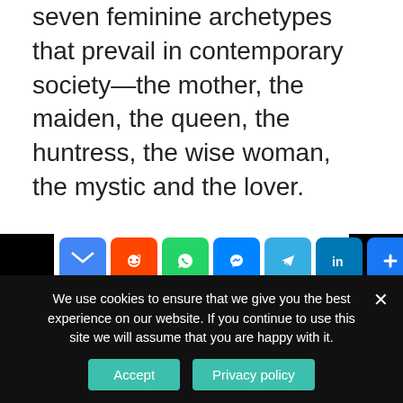seven feminine archetypes that prevail in contemporary society—the mother, the maiden, the queen, the huntress, the wise woman, the mystic and the lover.
[Figure (infographic): Row of social share buttons: email (blue), Reddit (orange), WhatsApp (green), Messenger (blue), Telegram (light blue), LinkedIn (blue), More/Plus (blue). Navigation sidebars with PREVIOUS POST (left) and NEXT POST (right) in black. Share icon with SH text.]
[Figure (illustration): Gray avatar/profile placeholder icon (person silhouette)]
About Bobbi
We use cookies to ensure that we give you the best experience on our website. If you continue to use this site we will assume that you are happy with it.